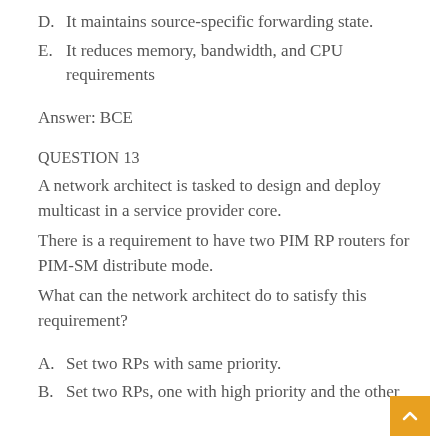D. It maintains source-specific forwarding state.
E. It reduces memory, bandwidth, and CPU requirements
Answer: BCE
QUESTION 13
A network architect is tasked to design and deploy multicast in a service provider core.
There is a requirement to have two PIM RP routers for PIM-SM distribute mode.
What can the network architect do to satisfy this requirement?
A. Set two RPs with same priority.
B. Set two RPs, one with high priority and the other